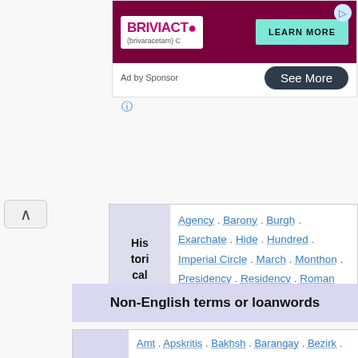[Figure (screenshot): Advertisement banner for BRIVIACT (brivaracetam) with dark red background, LEARN MORE button in teal, and See More button below.]
Ad by Sponsor
|  | Historical |
| --- | --- |
| His
tori
cal | Agency . Barony . Burgh . Exarchate . Hide . Hundred . Imperial Circle . March . Monthon . Presidency . Residency . Roman diocese . Seat . Tenth . Tithing . |
Non-English terms or loanwords
|  |  |
| --- | --- |
|  | Amt . Apskritis . Bakhsh . Barangay . Bezirk . Regierungsbezirk . Comune . Frazione . Freguesia . Fu . Gemeinde Austria . Germany . South Tyrol . Switzerland . . Gemeente . Gmina . Hromada . Judet . |